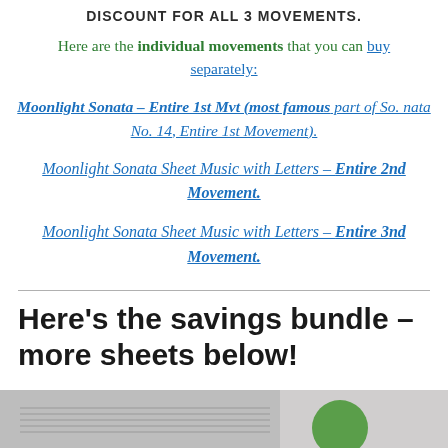DISCOUNT FOR ALL 3 MOVEMENTS.
Here are the individual movements that you can buy separately:
Moonlight Sonata – Entire 1st Mvt (most famous part of So. nata No. 14, Entire 1st Movement).
Moonlight Sonata Sheet Music with Letters – Entire 2nd Movement.
Moonlight Sonata Sheet Music with Letters – Entire 3nd Movement.
Here's the savings bundle – more sheets below!
[Figure (photo): Partial bottom image, appears to show sheet music and a green circular element]